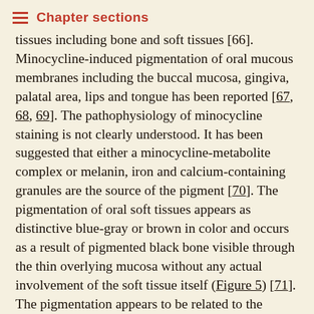Chapter sections
tissues including bone and soft tissues [66]. Minocycline-induced pigmentation of oral mucous membranes including the buccal mucosa, gingiva, palatal area, lips and tongue has been reported [67, 68, 69]. The pathophysiology of minocycline staining is not clearly understood. It has been suggested that either a minocycline-metabolite complex or melanin, iron and calcium-containing granules are the source of the pigment [70]. The pigmentation of oral soft tissues appears as distinctive blue-gray or brown in color and occurs as a result of pigmented black bone visible through the thin overlying mucosa without any actual involvement of the soft tissue itself (Figure 5) [71]. The pigmentation appears to be related to the duration of minocycline therapy or the cumulative dose, and resolves once the drug is discontinued [69,